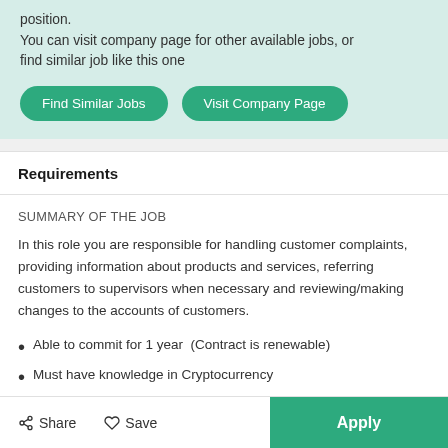position.
You can visit company page for other available jobs, or find similar job like this one
Find Similar Jobs
Visit Company Page
Requirements
SUMMARY OF THE JOB
In this role you are responsible for handling customer complaints, providing information about products and services, referring customers to supervisors when necessary and reviewing/making changes to the accounts of customers.
Able to commit for 1 year  (Contract is renewable)
Must have knowledge in Cryptocurrency
Minimum SPM with Customer Service Experience
Share  Save  Apply